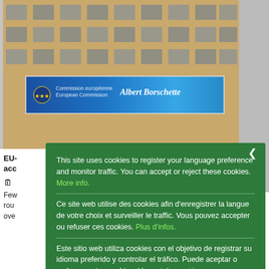[Figure (photo): Photograph of a European building facade with a blue banner reading 'Albert Borschette' with EU logos, Brussels government building context]
EU- acc
Few rou ove
This site uses cookies to register your language preference and monitor traffic. You can accept or reject these cookies. More info.
Ce site web utilise des cookies afin d'enregistrer la langue de votre choix et surveiller le traffic. Vous pouvez accepter ou refuser ces cookies. Plus d'infos.
Este sitio web utiliza cookies con el objetivo de registrar su idioma preferido y controlar el tráfico. Puede aceptar o rechazar estas cookies. Mayor información.